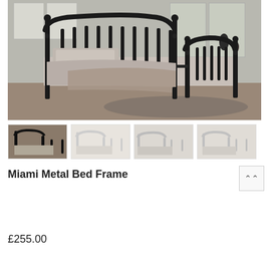[Figure (photo): Black metal bed frame with decorative vertical bars on headboard and footboard, made up with beige/tan bedding and pillows, shown in a styled bedroom with grey walls, large windows, and a shaggy rug on a wooden floor.]
[Figure (photo): Thumbnail 1: Black metal bed frame – same product in dark finish]
[Figure (photo): Thumbnail 2: White/cream metal bed frame variant]
[Figure (photo): Thumbnail 3: Light-coloured metal bed frame variant, angled view]
[Figure (photo): Thumbnail 4: Light-coloured metal bed frame variant, straight view]
Miami Metal Bed Frame
£255.00